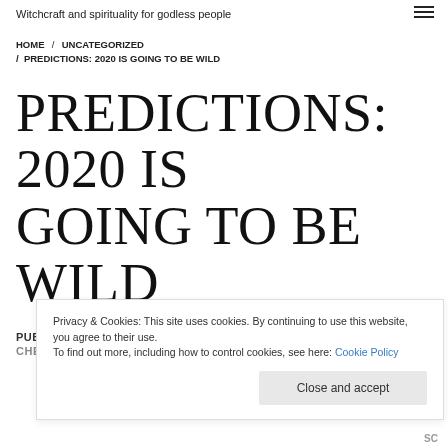Witchcraft and spirituality for godless people
HOME / UNCATEGORIZED / PREDICTIONS: 2020 IS GOING TO BE WILD
PREDICTIONS: 2020 IS GOING TO BE WILD
PUBLISHED ON : JANUARY 14, 2019   BY
CHELSEA HOFFMAN
Privacy & Cookies: This site uses cookies. By continuing to use this website, you agree to their use.
To find out more, including how to control cookies, see here: Cookie Policy
Close and accept